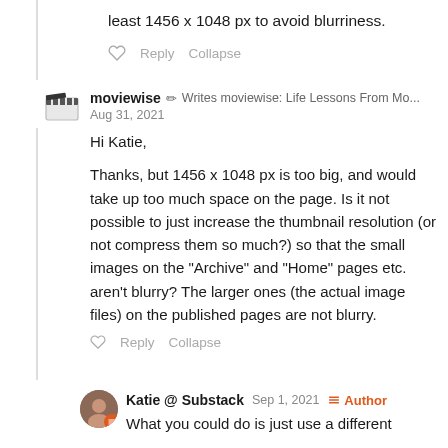least 1456 x 1048 px to avoid blurriness.
Reply   Collapse
moviewise · Writes moviewise: Life Lessons From Mo... Aug 31, 2021
Hi Katie,

Thanks, but 1456 x 1048 px is too big, and would take up too much space on the page. Is it not possible to just increase the thumbnail resolution (or not compress them so much?) so that the small images on the "Archive" and "Home" pages etc. aren't blurry? The larger ones (the actual image files) on the published pages are not blurry.
Reply   Collapse
Katie @ Substack   Sep 1, 2021   Author
What you could do is just use a different